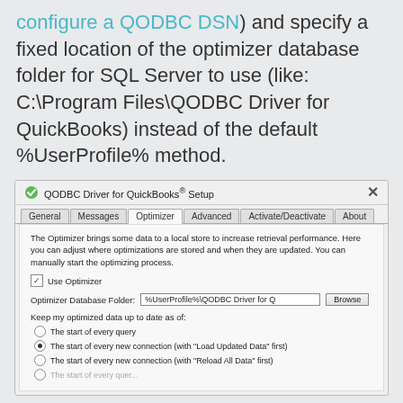configure a QODBC DSN) and specify a fixed location of the optimizer database folder for SQL Server to use (like: C:\Program Files\QODBC Driver for QuickBooks) instead of the default %UserProfile% method.
[Figure (screenshot): QODBC Driver for QuickBooks Setup dialog showing the Optimizer tab. Contains description text, Use Optimizer checkbox, Optimizer Database Folder field with %UserProfile%\QODBC Driver for Q text and Browse button, and radio buttons for keep optimized data options.]